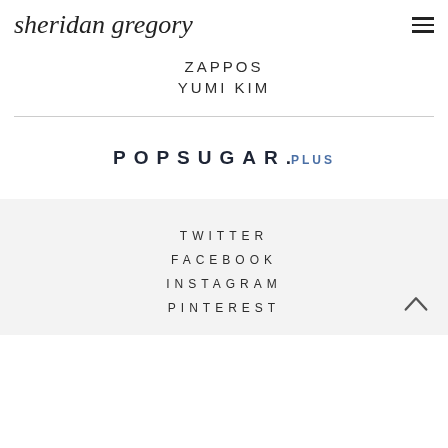sheridan gregory
ZAPPOS
YUMI KIM
[Figure (logo): POPSUGAR.PLUS logo in dark navy with PLUS in blue]
TWITTER
FACEBOOK
INSTAGRAM
PINTEREST